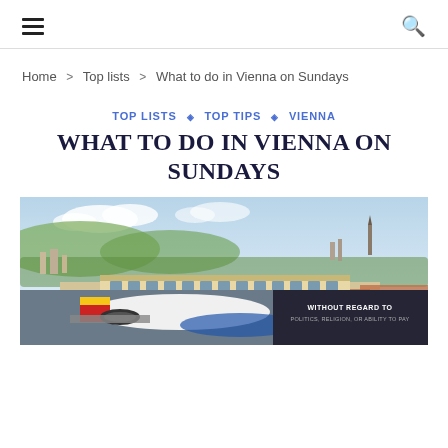≡  🔍
Home > Top lists > What to do in Vienna on Sundays
TOP LISTS ◇ TOP TIPS ◇ VIENNA
WHAT TO DO IN VIENNA ON SUNDAYS
[Figure (photo): Aerial view of Vienna cityscape with Schönbrunn Palace visible, blue sky with clouds. Below: cargo airplane on tarmac and dark advertisement panel reading WITHOUT REGARD TO POLITICS, RELIGION, OR ABILITY TO PAY]